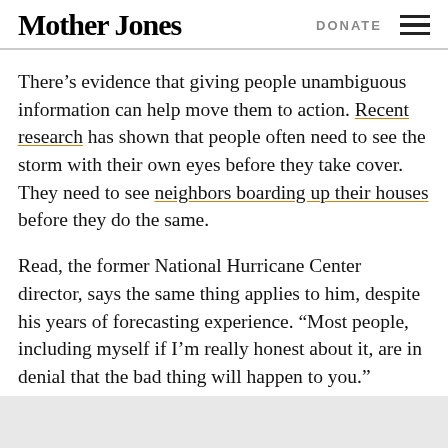Mother Jones | DONATE
There’s evidence that giving people unambiguous information can help move them to action. Recent research has shown that people often need to see the storm with their own eyes before they take cover. They need to see neighbors boarding up their houses before they do the same.
Read, the former National Hurricane Center director, says the same thing applies to him, despite his years of forecasting experience. “Most people, including myself if I’m really honest about it, are in denial that the bad thing will happen to you.”